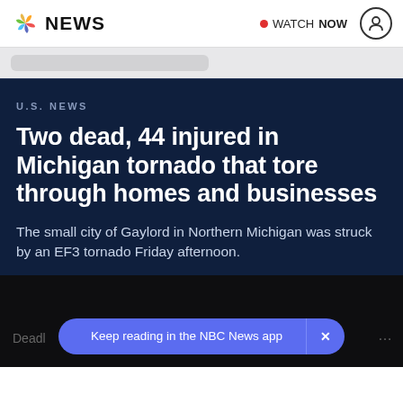NBC NEWS  WATCH NOW
U.S. NEWS
Two dead, 44 injured in Michigan tornado that tore through homes and businesses
The small city of Gaylord in Northern Michigan was struck by an EF3 tornado Friday afternoon.
Deadl
Keep reading in the NBC News app